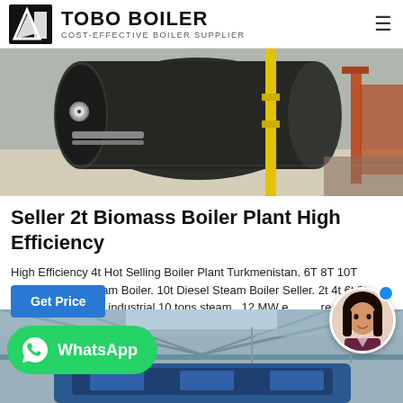TOBO BOILER — COST-EFFECTIVE BOILER SUPPLIER
[Figure (photo): Industrial boiler equipment in a factory setting, showing a large dark boiler unit with piping, a yellow vertical pipe, and industrial components.]
Seller 2t Biomass Boiler Plant High Efficiency
High Efficiency 4t Hot Selling Boiler Plant Turkmenistan. 6T 8T 10T am Boiler. 10t Diesel Steam Boiler Seller. 2t 4t 6t 8t fired industrial 10 tons steam . 12 MW e red Middle Pressure CFB Boiler for Power Plant High Effic
[Figure (photo): Interior of an industrial building with blue vehicle or equipment visible, metal roof structure overhead with blue sky.]